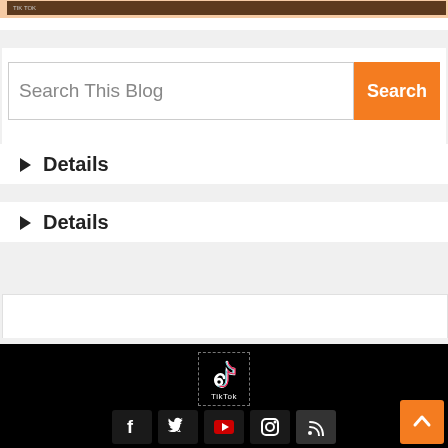[Figure (screenshot): Blog website screenshot showing a TikTok banner at top, a search bar with orange Search button, two collapsed Details sections, a white content area, and a black footer with TikTok logo and social media icons (Facebook, Twitter, YouTube, Instagram, RSS). An orange back-to-top arrow button is at the bottom right.]